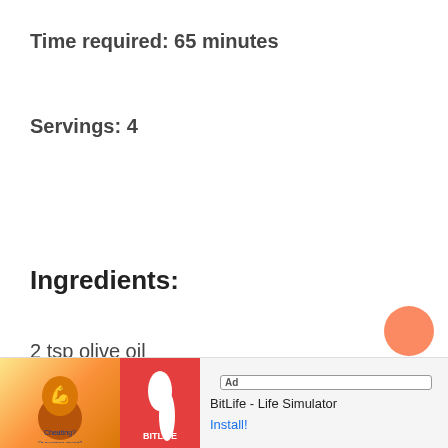Time required: 65 minutes
Servings: 4
Ingredients:
2 tsp olive oil
½ lemon